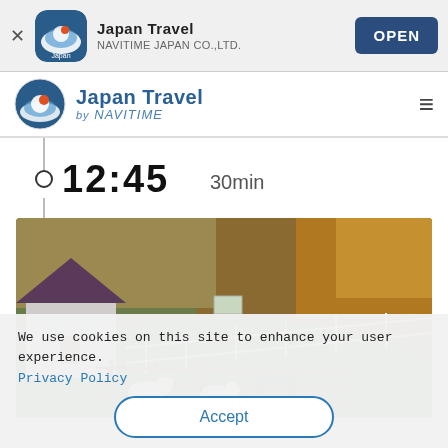Japan Travel — NAVITIME JAPAN CO.,LTD. — OPEN
[Figure (logo): Japan Travel by NAVITIME app navigation bar with circular logo]
12:45   30min
[Figure (photo): Farm scene with sheep grazing on green grass, wooden fences, small house with dark roof, autumn trees in background]
We use cookies on this site to enhance your user experience.
Privacy Policy
Accept